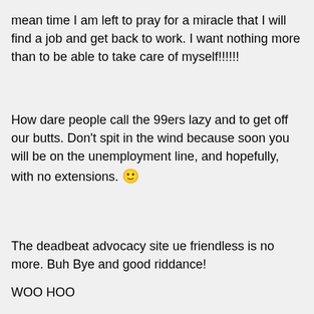mean time I am left to pray for a miracle that I will find a job and get back to work. I want nothing more than to be able to take care of myself!!!!!!
How dare people call the 99ers lazy and to get off our butts. Don't spit in the wind because soon you will be on the unemployment line, and hopefully, with no extensions. 🙂
The deadbeat advocacy site ue friendless is no more. Buh Bye and good riddance!
WOO HOO
A new forum quickly took it's place http://dawu.forumotion.com/